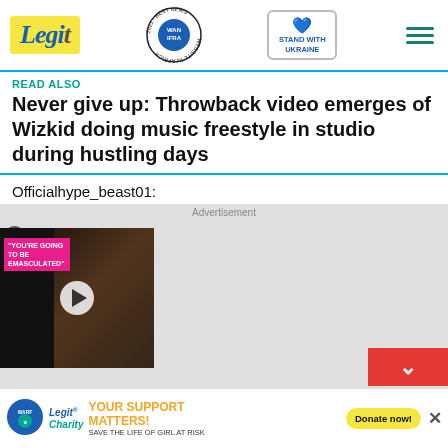Legit | WAN-IFRA 2021 Best News Website in Africa | Stand With Ukraine
READ ALSO
Never give up: Throwback video emerges of Wizkid doing music freestyle in studio during hustling days
Officialhype_beast01:
[Figure (screenshot): Advertisement area with a video player thumbnail showing two people (a man and a woman at an event). A pink overlay reads 'YOU'RE GOING TO BE EMASCULATED'. A play button is centered on the video. A red chevron-down button appears at the bottom right.]
[Figure (infographic): Legit Charity banner: WARF logo, Legit Charity text, 'YOUR SUPPORT MATTERS! SAVE THE LIFE OF GIRL AT RISK', Donate now button, close X button]